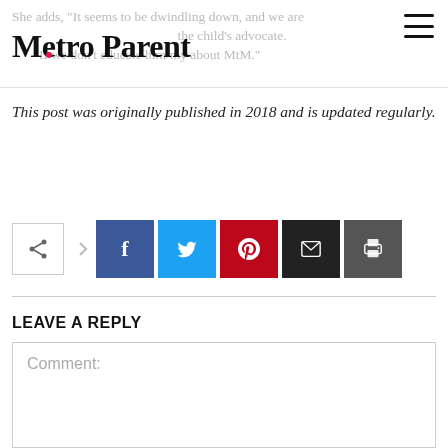Metro Parent
This post was originally published in 2018 and is updated regularly.
[Figure (infographic): Social share bar with share icon button, and five colored social media buttons: Facebook (blue), Twitter (cyan), Pinterest (red), Email (black), Print (dark gray)]
LEAVE A REPLY
Comment: